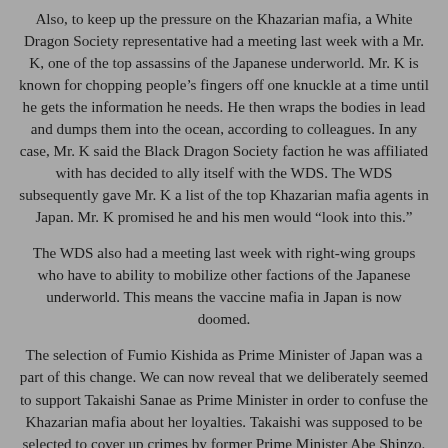Also, to keep up the pressure on the Khazarian mafia, a White Dragon Society representative had a meeting last week with a Mr. K, one of the top assassins of the Japanese underworld. Mr. K is known for chopping people's fingers off one knuckle at a time until he gets the information he needs. He then wraps the bodies in lead and dumps them into the ocean, according to colleagues. In any case, Mr. K said the Black Dragon Society faction he was affiliated with has decided to ally itself with the WDS. The WDS subsequently gave Mr. K a list of the top Khazarian mafia agents in Japan. Mr. K promised he and his men would “look into this.”
The WDS also had a meeting last week with right-wing groups who have to ability to mobilize other factions of the Japanese underworld. This means the vaccine mafia in Japan is now doomed.
The selection of Fumio Kishida as Prime Minister of Japan was a part of this change. We can now reveal that we deliberately seemed to support Takaishi Sanae as Prime Minister in order to confuse the Khazarian mafia about her loyalties. Takaishi was supposed to be selected to cover up crimes by former Prime Minister Abe Shinzo. This included Tokyo Olympics corruption and the creation of a biological warfare laboratory disguised as a veterinary school